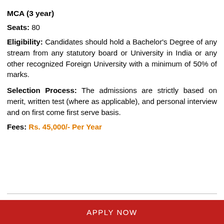MCA (3 year)
Seats: 80
Eligibility: Candidates should hold a Bachelor's Degree of any stream from any statutory board or University in India or any other recognized Foreign University with a minimum of 50% of marks.
Selection Process: The admissions are strictly based on merit, written test (where as applicable), and personal interview and on first come first serve basis.
Fees: Rs. 45,000/- Per Year
APPLY NOW